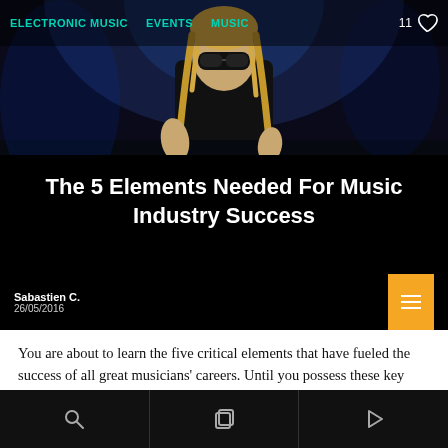ELECTRONIC MUSIC   EVENTS   MUSIC   11
[Figure (photo): Performer with blonde braided hair and dark sunglasses on stage with blue lighting]
The 5 Elements Needed For Music Industry Success
Sabastien C.
26/05/2016
You are about to learn the five critical elements that have fueled the success of all great musicians' careers. Until you possess these key elements for yourself, it will be nearly impossible for you to reach your musical dreams and build
Search | Browse | Play